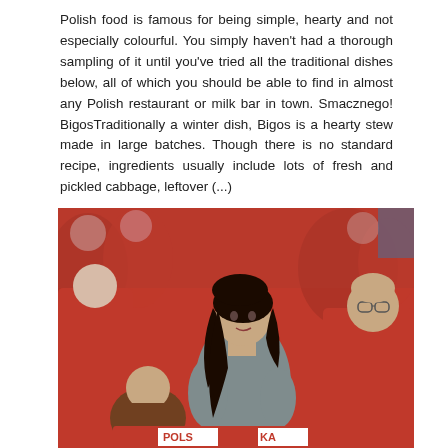Polish food is famous for being simple, hearty and not especially colourful. You simply haven't had a thorough sampling of it until you've tried all the traditional dishes below, all of which you should be able to find in almost any Polish restaurant or milk bar in town. Smacznego! BigosTraditionally a winter dish, Bigos is a hearty stew made in large batches. Though there is no standard recipe, ingredients usually include lots of fresh and pickled cabbage, leftover (...)
read more »
[Figure (photo): Photo of people at what appears to be a sports event (football/soccer). Central figure is a dark-haired woman in a gray top looking back over her shoulder. Around her are men and a boy in red clothing, with red and white scarves/banners visible. Background shows stadium crowd in red.]